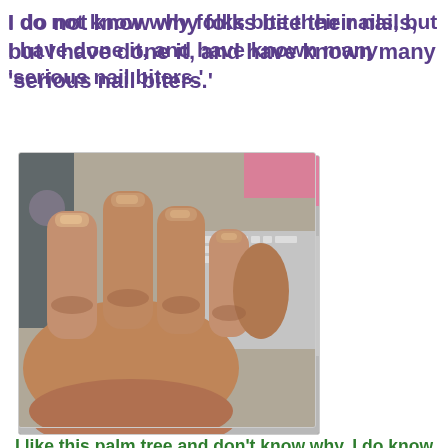I do not know why folks bite their nails, but I have done it, and have known many 'serious nail biters.'
[Figure (photo): A close-up photo of a clenched fist showing bitten fingernails with very short nails, held up against a blurred background showing a keyboard and other objects.]
I like this palm tree and don't know why. I do know it is prettier trimmed.
[Figure (photo): Partial view of a palm tree photo cropped at the bottom of the page.]